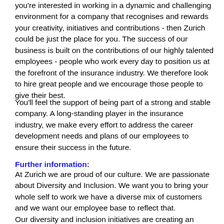you're interested in working in a dynamic and challenging environment for a company that recognises and rewards your creativity, initiatives and contributions - then Zurich could be just the place for you. The success of our business is built on the contributions of our highly talented employees - people who work every day to position us at the forefront of the insurance industry. We therefore look to hire great people and we encourage those people to give their best.
You'll feel the support of being part of a strong and stable company. A long-standing player in the insurance industry, we make every effort to address the career development needs and plans of our employees to ensure their success in the future.
Further information:
At Zurich we are proud of our culture. We are passionate about Diversity and Inclusion. We want you to bring your whole self to work we have a diverse mix of customers and we want our employee base to reflect that.
Our diversity and inclusion initiatives are creating an